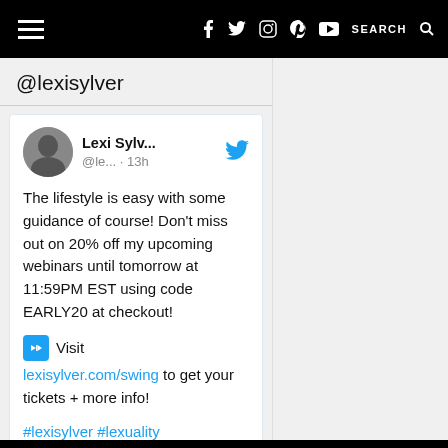☰  f  t  instagram  pinterest  youtube  SEARCH
@lexisylver
Lexi Sylv... @le... · 13h
The lifestyle is easy with some guidance of course! Don't miss out on 20% off my upcoming webinars until tomorrow at 11:59PM EST using code EARLY20 at checkout!
➡ Visit lexisylver.com/swing to get your tickets + more info!
#lexisylver #lexuality